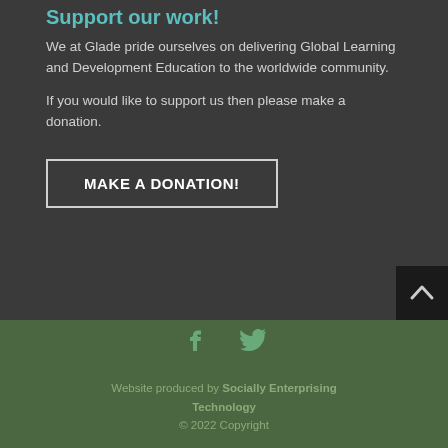Support our work!
We at Glade pride ourselves on delivering Global Learning and Development Education to the worldwide community.
If you would like to support us then please make a donation.
MAKE A DONATION!
[Figure (illustration): Social media icons: Facebook and Twitter in teal/green color]
Website produced by Socially Enterprising Technology
© 2022 Copyright